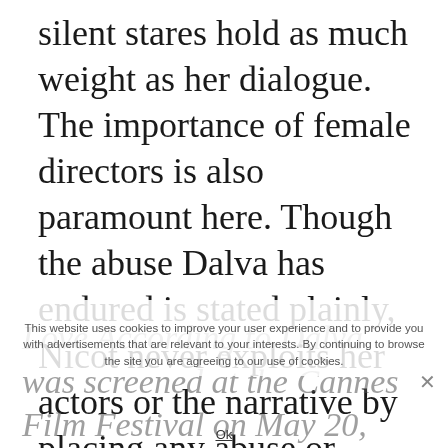silent stares hold as much weight as her dialogue. The importance of female directors is also paramount here. Though the abuse Dalva has endured is stated plainly, Nicot never exploits her actors or the narrative by placing any abuse or gratuitous shots on screen. This allows the audience to settle into the difficult subject matter and the affecting performances without ever turning away.
This website uses cookies to improve your user experience and to provide you with advertisements that are relevant to your interests. By continuing to browse the site you are agreeing to our use of cookies.
Love According to Dalva was screened at the Cannes Film Festival on May 20, 2022, as part of Unifrance's Inaugural Critics Lab.
Ok